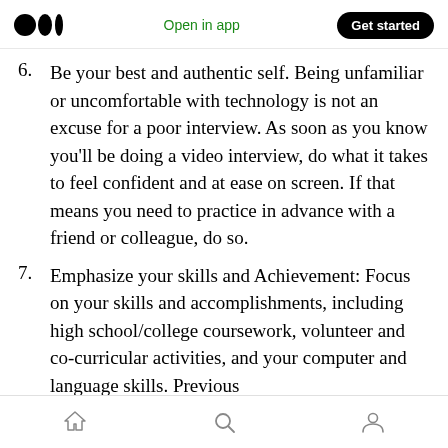Medium logo | Open in app | Get started
6. Be your best and authentic self. Being unfamiliar or uncomfortable with technology is not an excuse for a poor interview. As soon as you know you'll be doing a video interview, do what it takes to feel confident and at ease on screen. If that means you need to practice in advance with a friend or colleague, do so.
7. Emphasize your skills and Achievement: Focus on your skills and accomplishments, including high school/college coursework, volunteer and co-curricular activities, and your computer and language skills. Previous
Home | Search | Profile